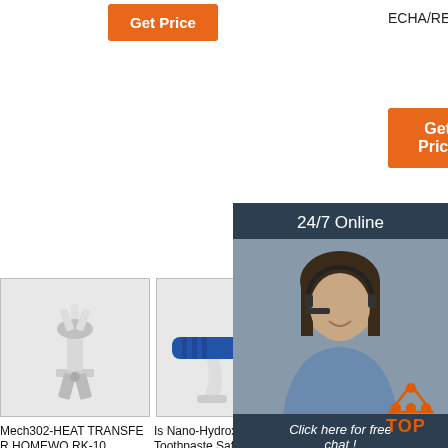Get Price
ECHA/REACH.
Get Price
Get Price
24/7 Online
[Figure (photo): Customer service representative woman with headset smiling]
Click here for free chat !
QUOTATION
[Figure (photo): Microscope or surgical equipment on white background]
[Figure (photo): Blue dental or medical handpiece tool]
[Figure (photo): Gray product image partially visible]
Mech302-HEAT TRANSFER HOMEWORK-10 Solutions
Is Nano-Hydroxyapatite Toothpaste Safe And Effective Or ...
GUAI W50 Paint – VinTech Nano Materials
2021-10-1u2003·u2003CH...